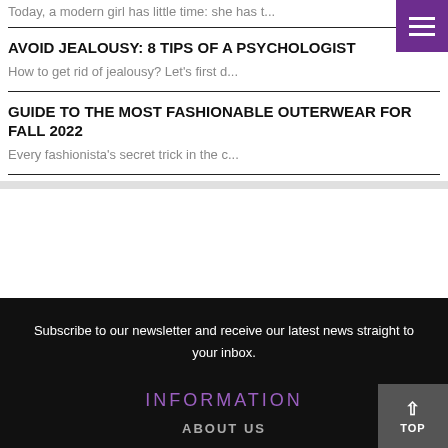Today, a modern girl has little time: she has t...
AVOID JEALOUSY: 8 TIPS OF A PSYCHOLOGIST
How to get rid of jealousy? Let's first d...
GUIDE TO THE MOST FASHIONABLE OUTERWEAR FOR FALL 2022
Every fashionista's secret trick in the c...
Subscribe to our newsletter and receive our latest news straight to your inbox.
INFORMATION
ABOUT US